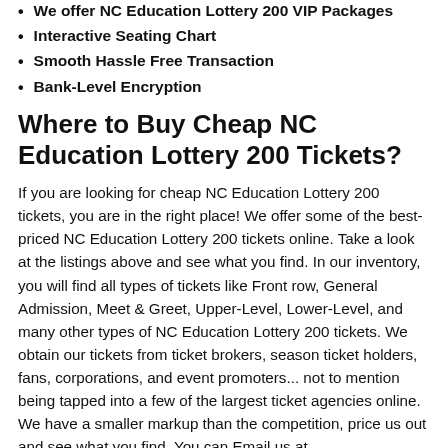We offer NC Education Lottery 200 VIP Packages
Interactive Seating Chart
Smooth Hassle Free Transaction
Bank-Level Encryption
Where to Buy Cheap NC Education Lottery 200 Tickets?
If you are looking for cheap NC Education Lottery 200 tickets, you are in the right place! We offer some of the best-priced NC Education Lottery 200 tickets online. Take a look at the listings above and see what you find. In our inventory, you will find all types of tickets like Front row, General Admission, Meet & Greet, Upper-Level, Lower-Level, and many other types of NC Education Lottery 200 tickets. We obtain our tickets from ticket brokers, season ticket holders, fans, corporations, and event promoters... not to mention being tapped into a few of the largest ticket agencies online. We have a smaller markup than the competition, price us out and see what you find. You can Email us at support@cheapticketsite.com for more help.
Where All Resales are NC Tickets and